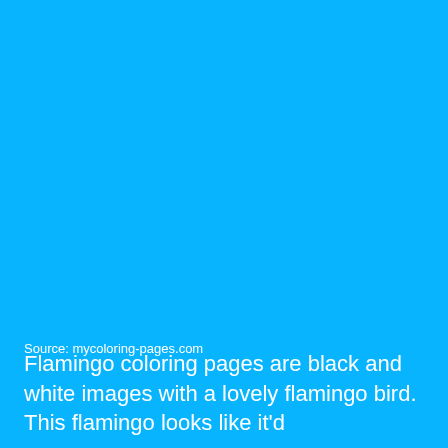[Figure (illustration): Solid bright blue background filling the upper portion of the page, likely representing a flamingo coloring page image area.]
Source: mycoloring-pages.com
Flamingo coloring pages are black and white images with a lovely flamingo bird. This flamingo looks like it'd